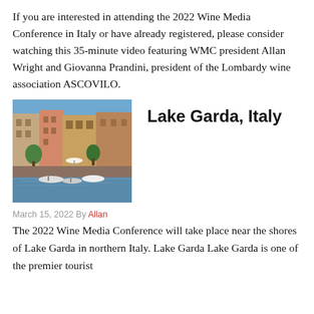If you are interested in attending the 2022 Wine Media Conference in Italy or have already registered, please consider watching this 35-minute video featuring WMC president Allan Wright and Giovanna Prandini, president of the Lombardy wine association ASCOVILO.
[Figure (photo): Photograph of Lake Garda, Italy showing colorful historic buildings along the waterfront with boats moored in the foreground and trees visible.]
Lake Garda, Italy
March 15, 2022 By Allan
The 2022 Wine Media Conference will take place near the shores of Lake Garda in northern Italy. Lake Garda Lake Garda is one of the premier tourist